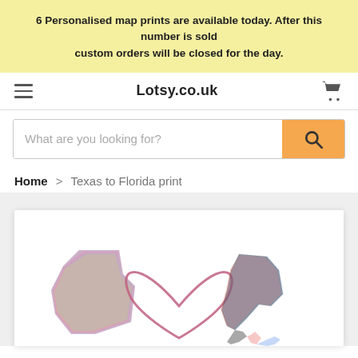6 Personalised map prints are available today. After this number is sold custom orders will be closed for the day.
Lotsy.co.uk
What are you looking for?
Home > Texas to Florida print
[Figure (photo): Watercolour map print showing Texas state on the left and Florida state on the right, connected by a hand-drawn heart shape in the centre. The states are rendered in multicolour watercolour style (red, blue, yellow, pink). The image is partially cropped at the bottom of the page.]